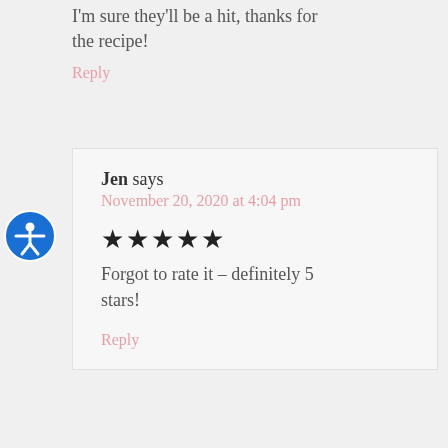I'm sure they'll be a hit, thanks for the recipe!
Reply
Jen says
November 20, 2020 at 4:04 pm
[Figure (other): Five filled star icons representing a 5-star rating]
Forgot to rate it – definitely 5 stars!
Reply